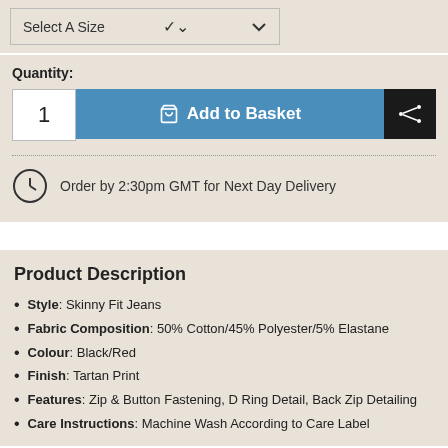Select A Size
Quantity: 1  Add to Basket
Order by 2:30pm GMT for Next Day Delivery
Product Description
Style: Skinny Fit Jeans
Fabric Composition: 50% Cotton/45% Polyester/5% Elastane
Colour: Black/Red
Finish: Tartan Print
Features: Zip & Button Fastening, D Ring Detail, Back Zip Detailing
Care Instructions: Machine Wash According to Care Label